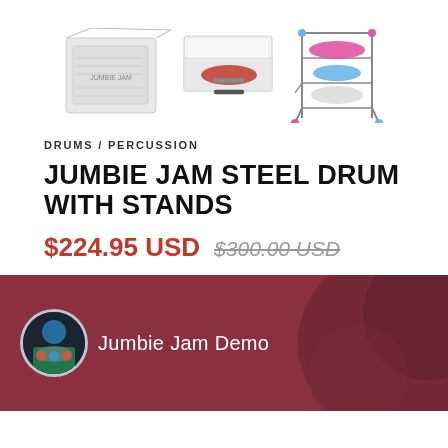[Figure (photo): Three product images: box packaging of Jumbie Jam, open white case with instrument inside, and a colorful drum rack with multiple pans on stands]
DRUMS / PERCUSSION
JUMBIE JAM STEEL DRUM WITH STANDS
$224.95 USD $300.00 USD
[Figure (photo): Video thumbnail showing a dark red/maroon steel drum pan being played, with a circular avatar of a person playing drums and the text 'Jumbie Jam Demo']